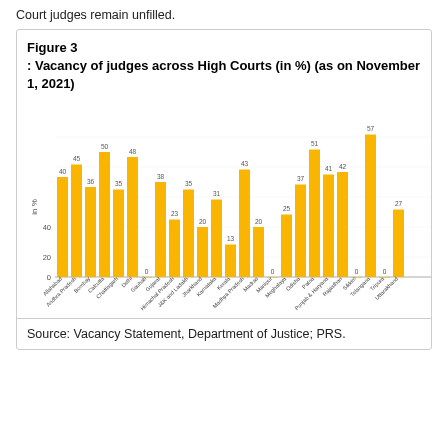Court judges remain unfilled.
Figure 3
: Vacancy of judges across High Courts (in %) (as on November 1, 2021)
[Figure (bar-chart): Vacancy of judges across High Courts (in %) (as on November 1, 2021)]
Source: Vacancy Statement, Department of Justice; PRS.